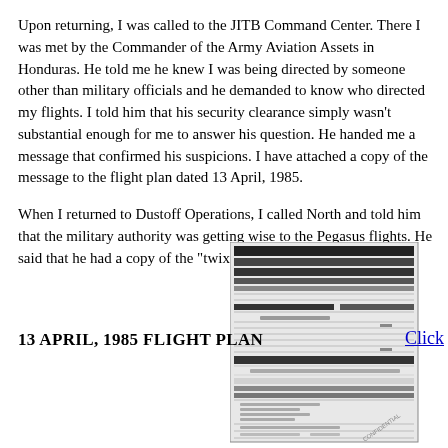Upon returning, I was called to the JITB Command Center. There I was met by the Commander of the Army Aviation Assets in Honduras. He told me he knew I was being directed by someone other than military officials and he demanded to know who directed my flights. I told him that his security clearance simply wasn't substantial enough for me to answer his question. He handed me a message that confirmed his suspicions. I have attached a copy of the message to the flight plan dated 13 April, 1985.
When I returned to Dustoff Operations, I called North and told him that the military authority was getting wise to the Pegasus flights. He said that he had a copy of the "twixt" and would handle it.
[Figure (photo): Scanned image of a military flight plan document dated 13 April 1985, partially redacted with black markings.]
13 APRIL, 1985 FLIGHT PLAN
Click